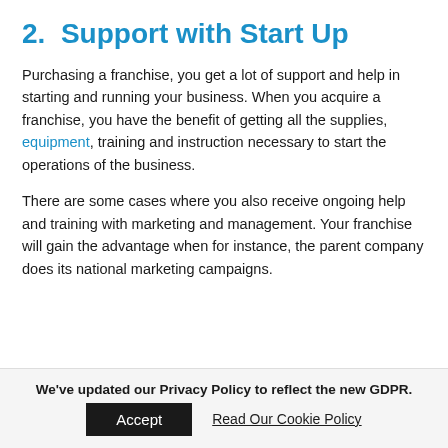2.  Support with Start Up
Purchasing a franchise, you get a lot of support and help in starting and running your business. When you acquire a franchise, you have the benefit of getting all the supplies, equipment, training and instruction necessary to start the operations of the business.
There are some cases where you also receive ongoing help and training with marketing and management. Your franchise will gain the advantage when for instance, the parent company does its national marketing campaigns.
We've updated our Privacy Policy to reflect the new GDPR.  Accept  Read Our Cookie Policy